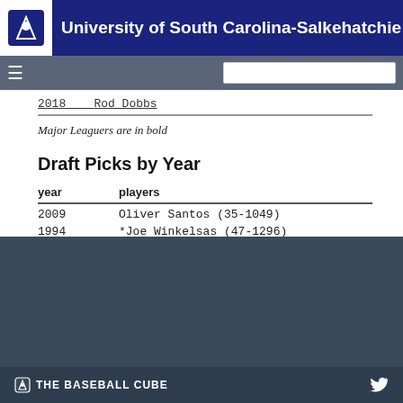University of South Carolina-Salkehatchie
| year | players |
| --- | --- |
| 2009 | Oliver Santos (35-1049) |
| 1994 | *Joe Winkelsas (47-1296) |
Major Leaguers are in bold
* Indicates unsigned by MLB Team
italics indicate player signed as Undrafted free agent
THE BASEBALL CUBE